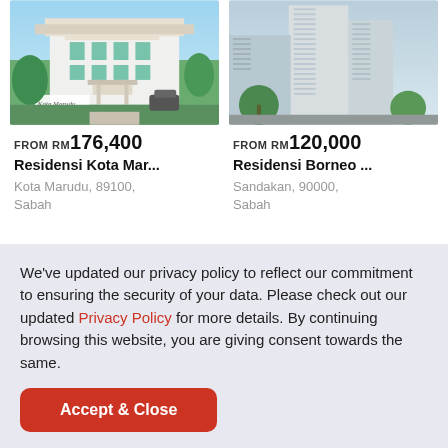[Figure (photo): Rendering of Residensi Kota Marudu property with green landscaping and building entrance]
[Figure (photo): Rendering of Residensi Borneo high-rise apartment building]
FROM RM176,400
Residensi Kota Mar...
Kota Marudu, 89100, Sabah
FROM RM120,000
Residensi Borneo ...
Sandakan, 90000, Sabah
We've updated our privacy policy to reflect our commitment to ensuring the security of your data. Please check out our updated Privacy Policy for more details. By continuing browsing this website, you are giving consent towards the same.
Accept & Close